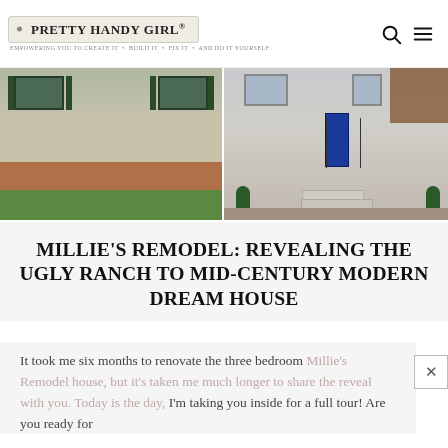PRETTY HANDY GIRL® — EMPOWERING YOU TO CREATE IT • BUILD IT • FIX IT • AND DO IT YOURSELF
[Figure (photo): Before and after exterior photos of a ranch-style house: left image shows the original beige siding with dark green shutters and a brick foundation; right image shows the renovated mid-century modern exterior with gray siding, cedar accents, a bold blue front door, and black iron railing on the front steps.]
MILLIE'S REMODEL: REVEALING THE UGLY RANCH TO MID-CENTURY MODERN DREAM HOUSE
It took me six months to renovate the three bedroom Millie's Remodel house, but it's taken me much longer to share the reveal with you. Today is the day, I'm taking you inside for a full tour! Are you ready for